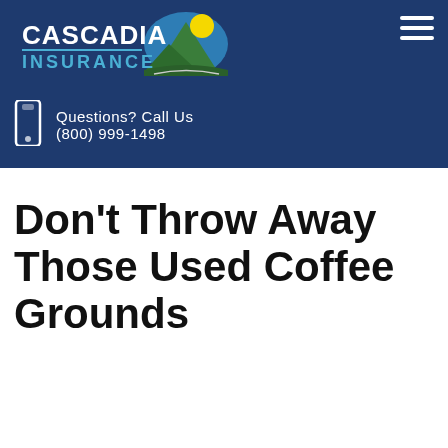[Figure (logo): Cascadia Insurance logo with mountain and sun graphic, white and teal text on dark blue background]
Questions? Call Us
(800) 999-1498
Don't Throw Away Those Used Coffee Grounds